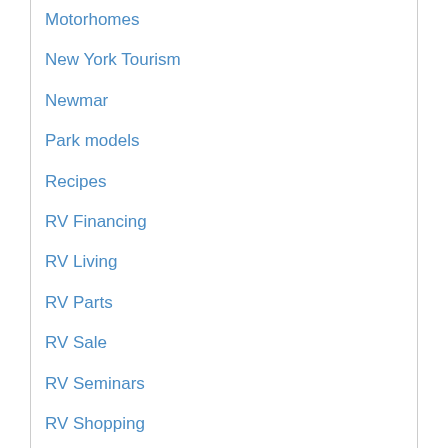Motorhomes
New York Tourism
Newmar
Park models
Recipes
RV Financing
RV Living
RV Parts
RV Sale
RV Seminars
RV Shopping
RV Show
Service Specials
Shasta